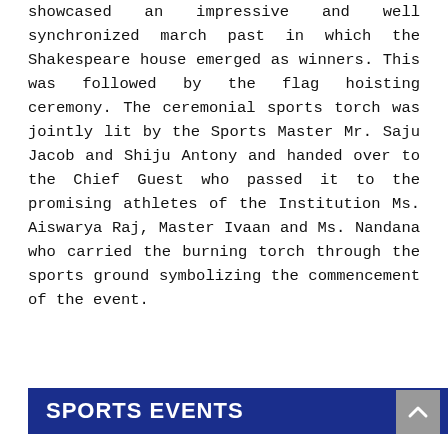showcased an impressive and well synchronized march past in which the Shakespeare house emerged as winners. This was followed by the flag hoisting ceremony. The ceremonial sports torch was jointly lit by the Sports Master Mr. Saju Jacob and Shiju Antony and handed over to the Chief Guest who passed it to the promising athletes of the Institution Ms. Aiswarya Raj, Master Ivaan and Ms. Nandana who carried the burning torch through the sports ground symbolizing the commencement of the event.
SPORTS EVENTS